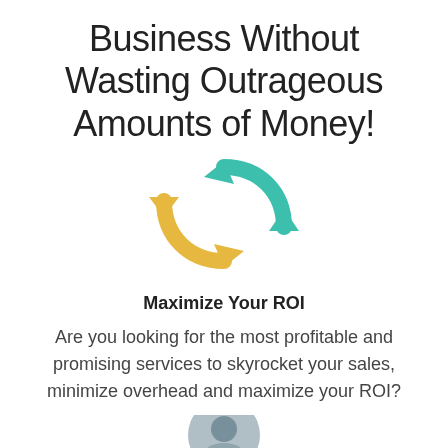Business Without Wasting Outrageous Amounts of Money!
[Figure (illustration): Two circular arrows icon: one teal/green arrow curving to the right at the top, and one yellow/gold arrow curving to the left at the bottom, forming a recycling or exchange cycle symbol.]
Maximize Your ROI
Are you looking for the most profitable and promising services to skyrocket your sales, minimize overhead and maximize your ROI?
[Figure (illustration): Partial view of a circular avatar/profile image at the bottom center of the page.]